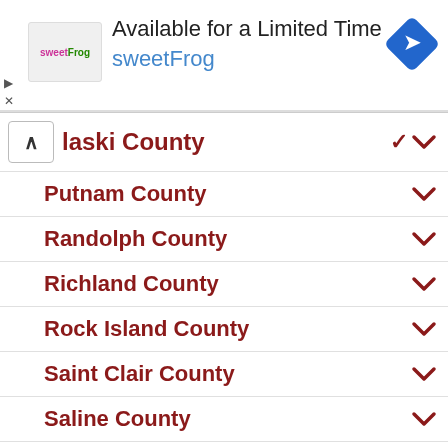[Figure (screenshot): SweetFrog advertisement banner: logo on left, 'Available for a Limited Time' title, 'sweetFrog' subtitle in blue, navigation arrow icon on right]
Pulaski County
Putnam County
Randolph County
Richland County
Rock Island County
Saint Clair County
Saline County
Sangamon County
Schuyler County
Scott County